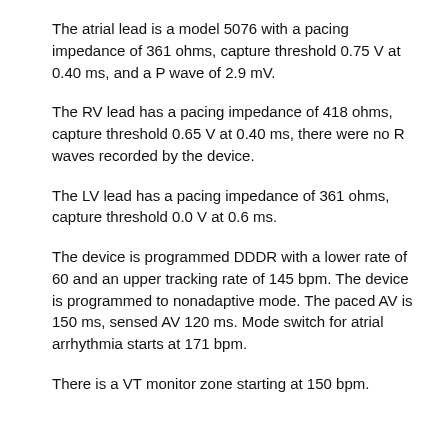The atrial lead is a model 5076 with a pacing impedance of 361 ohms, capture threshold 0.75 V at 0.40 ms, and a P wave of 2.9 mV.
The RV lead has a pacing impedance of 418 ohms, capture threshold 0.65 V at 0.40 ms, there were no R waves recorded by the device.
The LV lead has a pacing impedance of 361 ohms, capture threshold 0.0 V at 0.6 ms.
The device is programmed DDDR with a lower rate of 60 and an upper tracking rate of 145 bpm. The device is programmed to nonadaptive mode. The paced AV is 150 ms, sensed AV 120 ms. Mode switch for atrial arrhythmia starts at 171 bpm.
There is a VT monitor zone starting at 150 bpm.